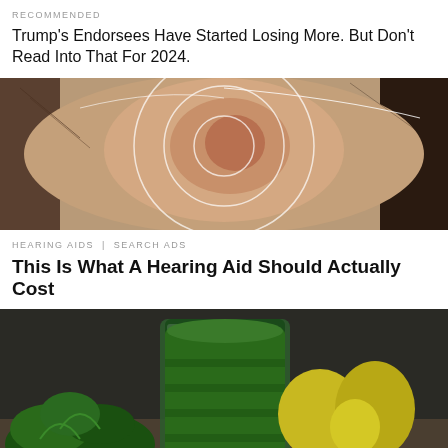RECOMMENDED
Trump's Endorsees Have Started Losing More. But Don't Read Into That For 2024.
[Figure (photo): Close-up photo of a human ear with concentric circle overlays suggesting hearing/sound targeting]
HEARING AIDS | SEARCH ADS
This Is What A Hearing Aid Should Actually Cost
[Figure (photo): Photo of a glass of green juice/smoothie with parsley herbs and yellow fruits (lemons/pears) in background on dark surface]